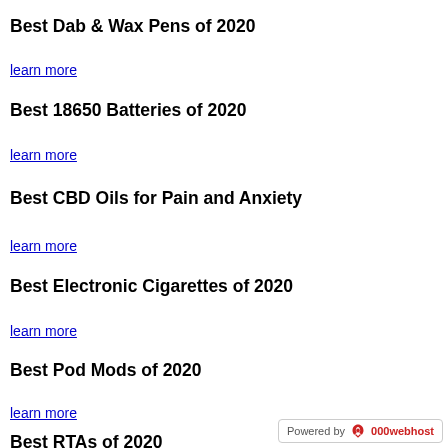Best Dab & Wax Pens of 2020
learn more
Best 18650 Batteries of 2020
learn more
Best CBD Oils for Pain and Anxiety
learn more
Best Electronic Cigarettes of 2020
learn more
Best Pod Mods of 2020
learn more
Best RTAs of 2020
Powered by 000webhost